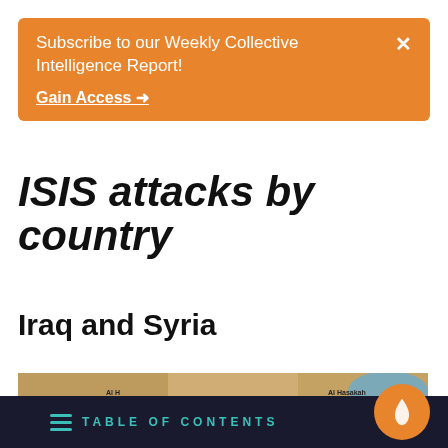Subscribe to our Weekly Collective Intelligence Report!
Gain Access →
ISIS attacks by country
Iraq and Syria
[Figure (map): Satellite map showing Iraq and Syria region with explosion/attack markers (red and yellow burst icons) at various locations including Al Hasakah, Mosul, Tal Afar, Erbil, Al Shirqat, Kirkuk, and other cities]
TABLE OF CONTENTS